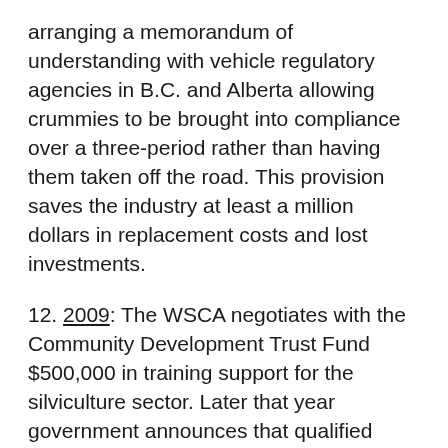arranging a memorandum of understanding with vehicle regulatory agencies in B.C. and Alberta allowing crummies to be brought into compliance over a three-period rather than having them taken off the road. This provision saves the industry at least a million dollars in replacement costs and lost investments.
12. 2009: The WSCA negotiates with the Community Development Trust Fund $500,000 in training support for the silviculture sector. Later that year government announces that qualified silviculture workers would be eligible for training and work under programs funded by the Community Development Trust; something the WSCA has lobbied for.